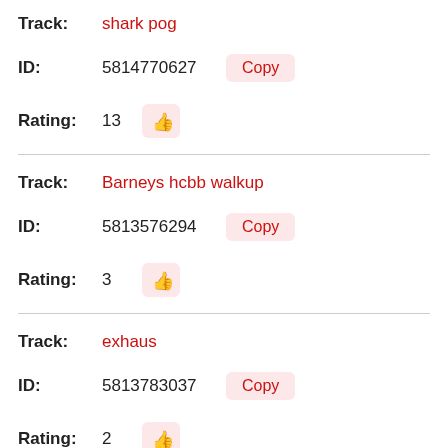Track: shark pog
ID: 5814770627  Copy
Rating: 13
Track: Barneys hcbb walkup
ID: 5813576294  Copy
Rating: 3
Track: exhaus
ID: 5813783037  Copy
Rating: 2